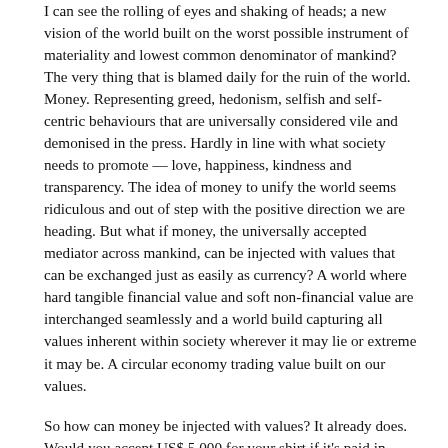I can see the rolling of eyes and shaking of heads; a new vision of the world built on the worst possible instrument of materiality and lowest common denominator of mankind? The very thing that is blamed daily for the ruin of the world. Money. Representing greed, hedonism, selfish and self-centric behaviours that are universally considered vile and demonised in the press. Hardly in line with what society needs to promote — love, happiness, kindness and transparency. The idea of money to unify the world seems ridiculous and out of step with the positive direction we are heading. But what if money, the universally accepted mediator across mankind, can be injected with values that can be exchanged just as easily as currency? A world where hard tangible financial value and soft non-financial value are interchanged seamlessly and a world build capturing all values inherent within society wherever it may lie or extreme it may be. A circular economy trading value built on our values.
So how can money be injected with values? It already does. Would you accept US$ 5,000 for your shirt if it's paid in KKK Coins? It may offend your values, or you simply think that since you do not associate with the Klu Klux Klan, where could you spend the currency? Currency carries both a financial value and